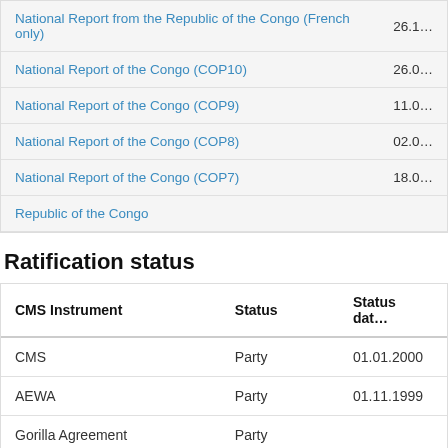| Report | Date |
| --- | --- |
| National Report from the Republic of the Congo (French only) | 26.1… |
| National Report of the Congo (COP10) | 26.0… |
| National Report of the Congo (COP9) | 11.0… |
| National Report of the Congo (COP8) | 02.0… |
| National Report of the Congo (COP7) | 18.0… |
| Republic of the Congo |  |
Ratification status
| CMS Instrument | Status | Status date |
| --- | --- | --- |
| CMS | Party | 01.01.2000 |
| AEWA | Party | 01.11.1999 |
| Gorilla Agreement | Party |  |
| Atlantic Turtles | MOU Signatory |  |
| Western African Aquatic Mammals | MOU Signatory | 03.10.2008 |